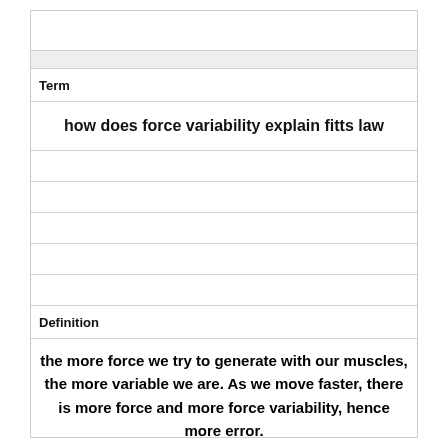Term
how does force variability explain fitts law
Definition
the more force we try to generate with our muscles, the more variable we are. As we move faster, there is more force and more force variability, hence more error.